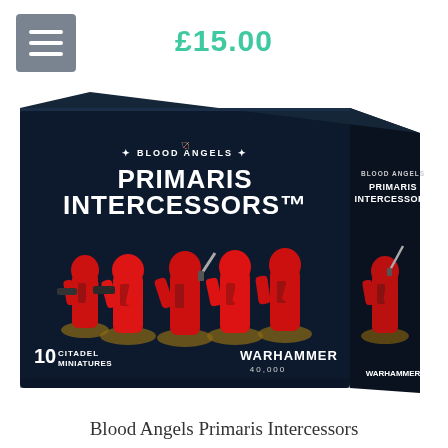£15.00
[Figure (photo): Product box of Warhammer 40,000 Blood Angels Primaris Intercessors, showing 10 Citadel Miniatures — red-armoured space marine figures on a dark navy/black box with white text reading 'Blood Angels Primaris Intercessors' and the Warhammer 40,000 logo at the bottom right.]
Blood Angels Primaris Intercessors